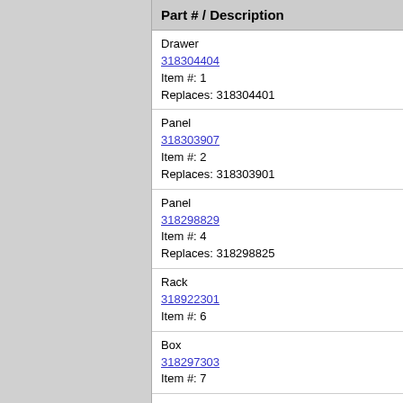Part # / Description
Drawer
318304404
Item #: 1
Replaces: 318304401
Panel
318303907
Item #: 2
Replaces: 318303901
Panel
318298829
Item #: 4
Replaces: 318298825
Rack
318922301
Item #: 6
Box
318297303
Item #: 7
Panel
318359500
Item #: 8
[Figure (photo): Frigidaire Range / Oven Broiler Pan product photo - dark rectangular pan]
Frigidaire Range / Ov...
Broiler Pan
5304494997
Item #: 9
Replaces: 31608190...
Glide